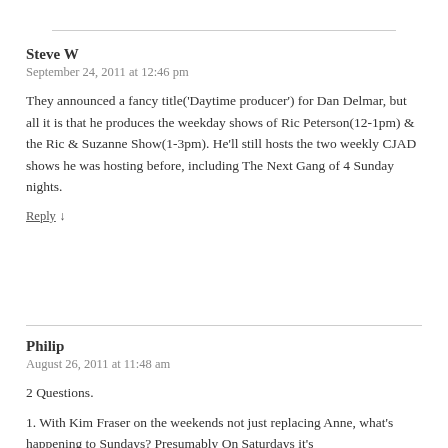Steve W
September 24, 2011 at 12:46 pm
They announced a fancy title('Daytime producer') for Dan Delmar, but all it is that he produces the weekday shows of Ric Peterson(12-1pm) & the Ric & Suzanne Show(1-3pm). He'll still hosts the two weekly CJAD shows he was hosting before, including The Next Gang of 4 Sunday nights.
Reply ↓
Philip
August 26, 2011 at 11:48 am
2 Questions.
1. With Kim Fraser on the weekends not just replacing Anne, what's happening to Sundays? Presumably On Saturdays it's